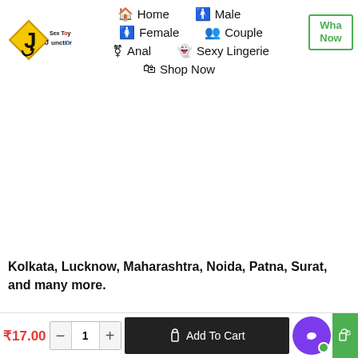Home | Male | Female | Couple | Anal | Sexy Lingerie | Shop Now
[Figure (logo): Sex Toy Junction logo - yellow diamond road sign with J arrow and text]
Kolkata, Lucknow, Maharashtra, Noida, Patna, Surat, and many more.
[Figure (logo): Sex Toy Junction large logo - yellow diamond road sign with J arrow and Sex Toy Junction text]
₹17.00  −  1  +  Add To Cart